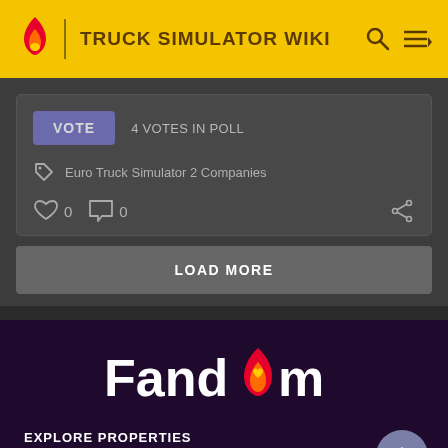TRUCK SIMULATOR WIKI
VOTE   4 VOTES IN POLL
Euro Truck Simulator 2 Companies
0  0
LOAD MORE
[Figure (logo): Fandom logo with flame icon and heart, white text on dark purple background]
EXPLORE PROPERTIES
Fandom   Futhead